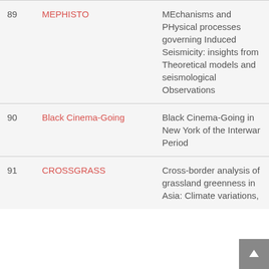| # | Name | Description |
| --- | --- | --- |
| 89 | MEPHISTO | MEchanisms and PHysical processes governing Induced Seismicity: insights from Theoretical models and seismological Observations |
| 90 | Black Cinema-Going | Black Cinema-Going in New York of the Interwar Period |
| 91 | CROSSGRASS | Cross-border analysis of grassland greenness in Asia: Climate variations, |